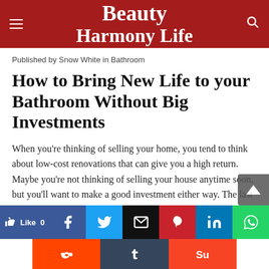Beauty Harmony Life
Published by Snow White in Bathroom
How to Bring New Life to your Bathroom Without Big Investments
When you’re thinking of selling your home, you tend to think about low-cost renovations that can give you a high return. Maybe you’re not thinking of selling your house anytime soon, but you’ll want to make a good investment either way. The last thing you want is to throw money…